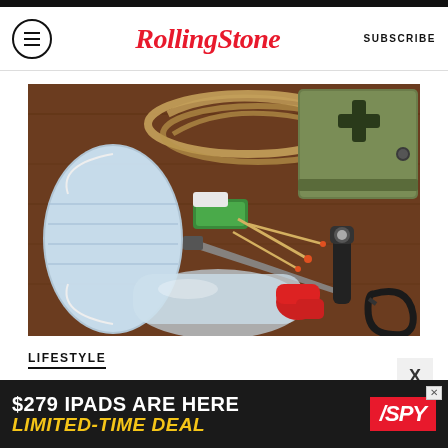Rolling Stone — SUBSCRIBE
[Figure (photo): Overhead view of emergency/survival kit items spread on a wooden surface: a blue surgical face mask, coiled rope, a green and white bar of soap/chalk, matches, a hunting knife, a water bottle with red cap, a tactical flashlight, a military-style green first aid pouch with black cross, and a carabiner.]
LIFESTYLE
[Figure (other): Advertisement banner: '$279 IPADS ARE HERE LIMITED-TIME DEAL' with SPY logo in red background]